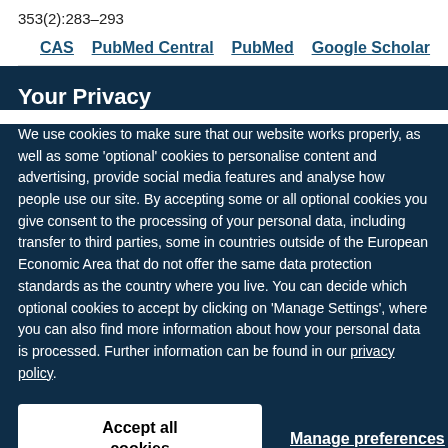353(2):283–293
CAS   PubMed Central   PubMed   Google Scholar
Your Privacy
We use cookies to make sure that our website works properly, as well as some 'optional' cookies to personalise content and advertising, provide social media features and analyse how people use our site. By accepting some or all optional cookies you give consent to the processing of your personal data, including transfer to third parties, some in countries outside of the European Economic Area that do not offer the same data protection standards as the country where you live. You can decide which optional cookies to accept by clicking on 'Manage Settings', where you can also find more information about how your personal data is processed. Further information can be found in our privacy policy.
Accept all cookies
Manage preferences